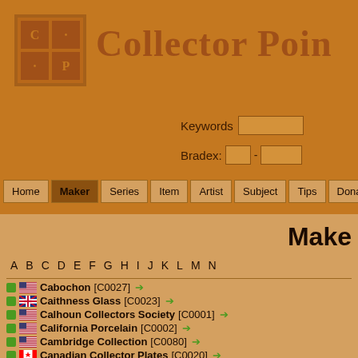[Figure (logo): Collector Point logo — square grid with C, dot, dot, P letters in brown/orange tones]
Collector Point
Keywords [input field]
Bradex: [input]-[input]
Home | Maker | Series | Item | Artist | Subject | Tips | Donate
Make
A B C D E F G H I J K L M N
Cabochon [C0027]
Caithness Glass [C0023]
Calhoun Collectors Society [C0001]
California Porcelain [C0002]
Cambridge Collection [C0080]
Canadian Collector Plates [C0020]
Canadian Porcelain Company [C0045]